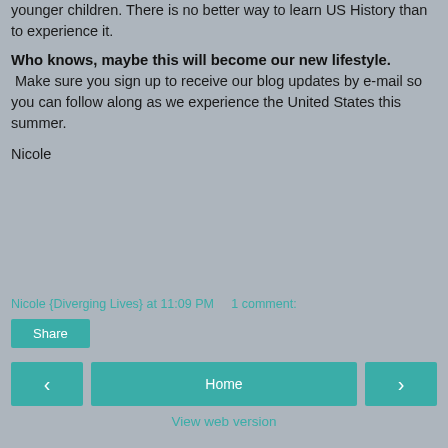younger children.  There is no better way to learn US History than to experience it.
Who knows, maybe this will become our new lifestyle.  Make sure you sign up to receive our blog updates by e-mail so you can follow along as we experience the United States this summer.
Nicole
Nicole {Diverging Lives} at 11:09 PM    1 comment:
Share
Home   View web version